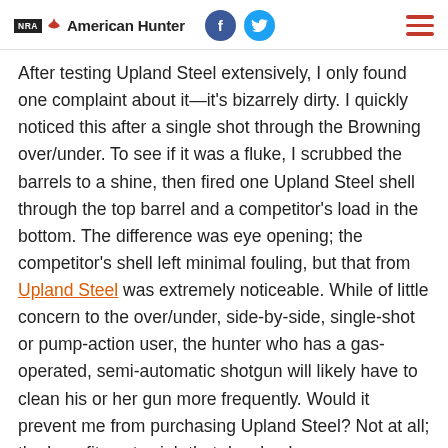NRA American Hunter
After testing Upland Steel extensively, I only found one complaint about it—it's bizarrely dirty. I quickly noticed this after a single shot through the Browning over/under. To see if it was a fluke, I scrubbed the barrels to a shine, then fired one Upland Steel shell through the top barrel and a competitor's load in the bottom. The difference was eye opening; the competitor's shell left minimal fouling, but that from Upland Steel was extremely noticeable. While of little concern to the over/under, side-by-side, single-shot or pump-action user, the hunter who has a gas-operated, semi-automatic shotgun will likely have to clean his or her gun more frequently. Would it prevent me from purchasing Upland Steel? Not at all; the benefits outweigh that drawback.